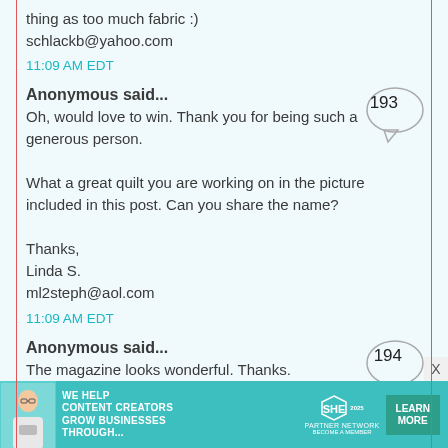thing as too much fabric :)
schlackb@yahoo.com
11:09 AM EDT
Anonymous said...
Oh, would love to win. Thank you for being such a generous person.

What a great quilt you are working on in the picture included in this post. Can you share the name?

Thanks,
Linda S.
ml2steph@aol.com
11:09 AM EDT
Anonymous said...
The magazine looks wonderful. Thanks.
[Figure (infographic): SHE Partner Network advertisement banner at the bottom of the page]